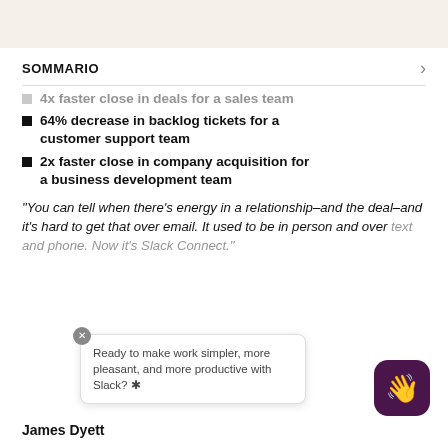SOMMARIO
4x faster close in deals for a sales team
64% decrease in backlog tickets for a customer support team
2x faster close in company acquisition for a business development team
“You can tell when there’s energy in a relationship–and the deal–and it’s hard to get that over email. It used to be in person and over text and phone. Now it’s Slack Connect.”
Ready to make work simpler, more pleasant, and more productive with Slack? ✲
James Dyett